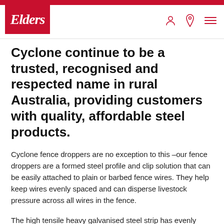Elders
Cyclone continue to be a trusted, recognised and respected name in rural Australia, providing customers with quality, affordable steel products.
Cyclone fence droppers are no exception to this –our fence droppers are a formed steel profile and clip solution that can be easily attached to plain or barbed fence wires. They help keep wires evenly spaced and can disperse livestock pressure across all wires in the fence.
The high tensile heavy galvanised steel strip has evenly spaced, pre-punched slots along the length of the profile to suit almost any fence line wire spacing application – 3, 6, 10 (or almost any number in between) line wire fences can use a Cyclone fence dropper.